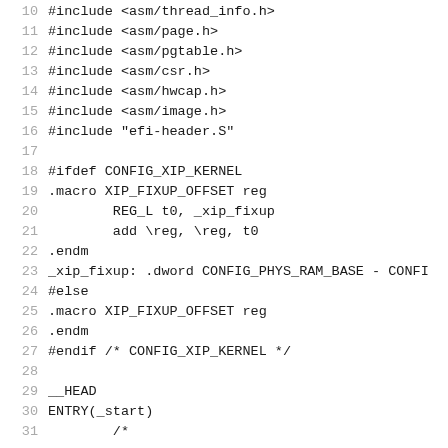10 #include <asm/thread_info.h>
11 #include <asm/page.h>
12 #include <asm/pgtable.h>
13 #include <asm/csr.h>
14 #include <asm/hwcap.h>
15 #include <asm/image.h>
16 #include "efi-header.S"
17
18 #ifdef CONFIG_XIP_KERNEL
19 .macro XIP_FIXUP_OFFSET reg
20         REG_L t0, _xip_fixup
21         add \reg, \reg, t0
22 .endm
23 _xip_fixup: .dword CONFIG_PHYS_RAM_BASE - CONFI
24 #else
25 .macro XIP_FIXUP_OFFSET reg
26 .endm
27 #endif /* CONFIG_XIP_KERNEL */
28
29 __HEAD
30 ENTRY(_start)
31         /*